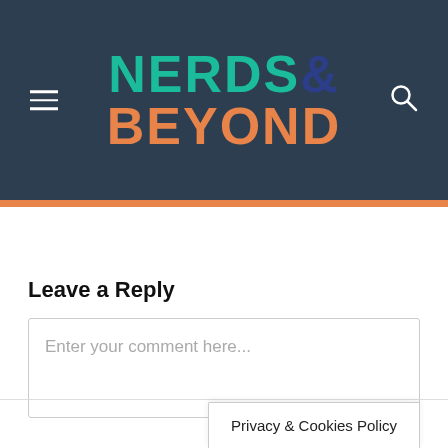NERDS& BEYOND
Leave a Reply
Enter your comment here...
Privacy & Cookies Policy